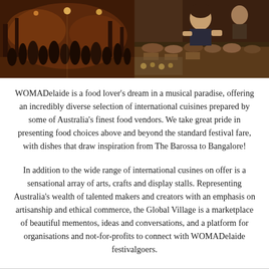[Figure (photo): Two festival photos side by side: left shows a crowd at a night outdoor festival with warm orange/red lighting; right shows a woman serving food at a market stall with various dishes displayed.]
WOMADelaide is a food lover's dream in a musical paradise, offering an incredibly diverse selection of international cuisines prepared by some of Australia's finest food vendors. We take great pride in presenting food choices above and beyond the standard festival fare, with dishes that draw inspiration from The Barossa to Bangalore!
In addition to the wide range of international cusines on offer is a sensational array of arts, crafts and display stalls. Representing Australia's wealth of talented makers and creators with an emphasis on artisanship and ethical commerce, the Global Village is a marketplace of beautiful mementos, ideas and conversations, and a platform for organisations and not-for-profits to connect with WOMADelaide festivalgoers.